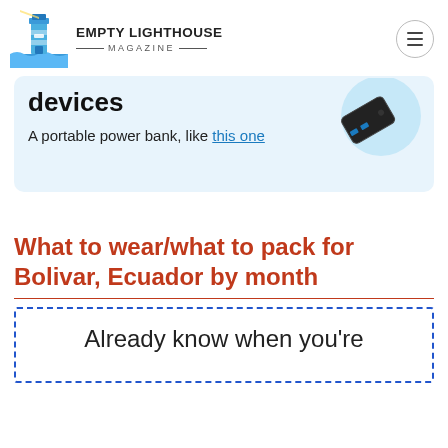EMPTY LIGHTHOUSE MAGAZINE
devices
A portable power bank, like this one
[Figure (photo): A black portable power bank device shown in top-right of card area]
What to wear/what to pack for Bolivar, Ecuador by month
Already know when you're